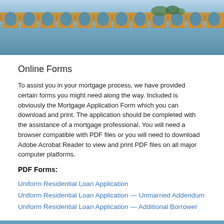[Figure (photo): Photograph of a bridge with multiple arches reflected in water below, taken at golden hour with warm orange light on the stone arches and blue-grey water.]
Online Forms
To assist you in your mortgage process, we have provided certain forms you might need along the way. Included is obviously the Mortgage Application Form which you can download and print. The application should be completed with the assistance of a mortgage professional. You will need a browser compatible with PDF files or you will need to download Adobe Acrobat Reader to view and print PDF files on all major computer platforms.
PDF Forms:
Uniform Residential Loan Application
Uniform Residential Loan Application — Unmarried Addendum
Uniform Residential Loan Application — Additional Borrower